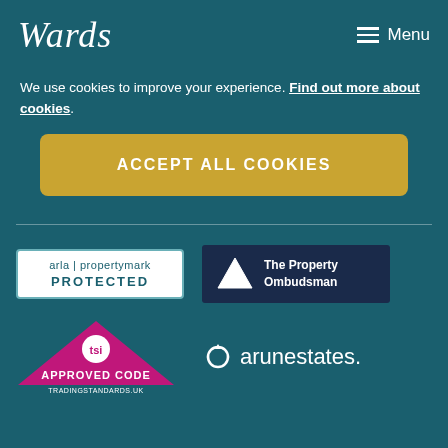Wards | Menu
We use cookies to improve your experience. Find out more about cookies.
ACCEPT ALL COOKIES
[Figure (logo): arla | propertymark PROTECTED badge - white box with teal border]
[Figure (logo): The Property Ombudsman logo - dark navy background with white triangle and text]
[Figure (logo): TSI Approved Code - tradingstandards.uk - magenta triangle roof with tsi circle]
[Figure (logo): arunestates. logo in white text with recycling arrow icon]